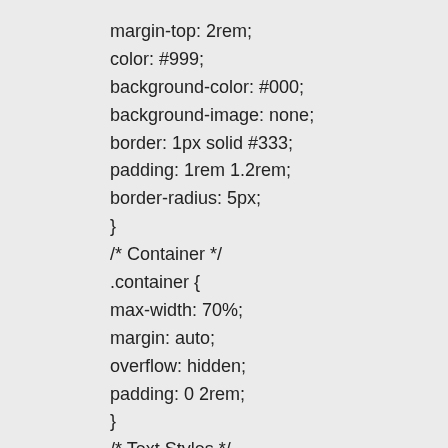margin-top: 2rem;
color: #999;
background-color: #000;
background-image: none;
border: 1px solid #333;
padding: 1rem 1.2rem;
border-radius: 5px;
}
/* Container */
.container {
max-width: 70%;
margin: auto;
overflow: hidden;
padding: 0 2rem;
}
/* Text Styles */
.text-xl {
font-size: 2rem;
}
.text-lg {